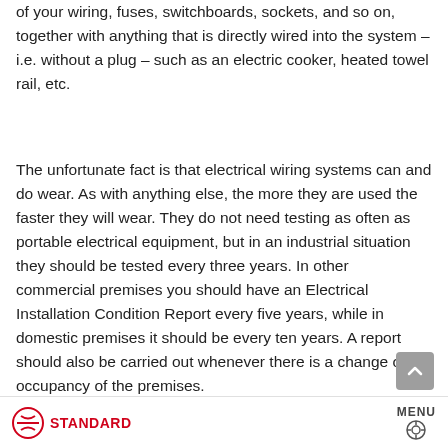of your wiring, fuses, switchboards, sockets, and so on, together with anything that is directly wired into the system – i.e. without a plug – such as an electric cooker, heated towel rail, etc.
The unfortunate fact is that electrical wiring systems can and do wear. As with anything else, the more they are used the faster they will wear. They do not need testing as often as portable electrical equipment, but in an industrial situation they should be tested every three years. In other commercial premises you should have an Electrical Installation Condition Report every five years, while in domestic premises it should be every ten years. A report should also be carried out whenever there is a change of occupancy of the premises.
STANDARD   MENU